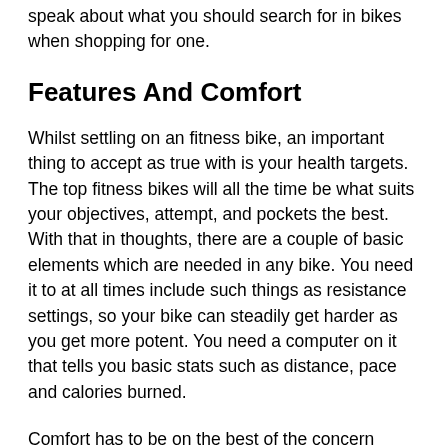speak about what you should search for in bikes when shopping for one.
Features And Comfort
Whilst settling on an fitness bike, an important thing to accept as true with is your health targets. The top fitness bikes will all the time be what suits your objectives, attempt, and pockets the best. With that in thoughts, there are a couple of basic elements which are needed in any bike. You need it to at all times include such things as resistance settings, so your bike can steadily get harder as you get more potent. You need a computer on it that tells you basic stats such as distance, pace and calories burned.
Comfort has to be on the best of the concern checklist, particularly in the event you'll be cycling